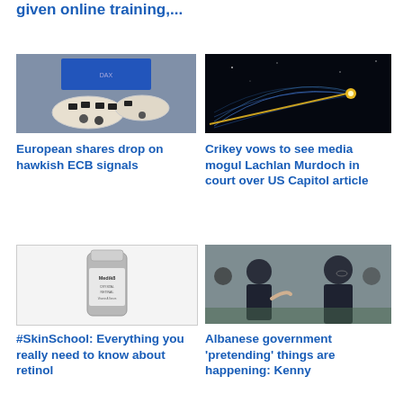given online training,...
[Figure (photo): Trading floor of a stock exchange with circular desks and multiple monitors]
[Figure (photo): Dark background with glowing yellow dot and blue trajectory lines, space probe visualization]
European shares drop on hawkish ECB signals
Crikey vows to see media mogul Lachlan Murdoch in court over US Capitol article
[Figure (photo): Medik8 Crystal Retinal skincare product bottle on light background]
[Figure (photo): Politicians in suits in parliament, one gesturing to another]
#SkinSchool: Everything you really need to know about retinol
Albanese government 'pretending' things are happening: Kenny